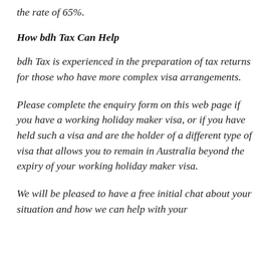the rate of 65%.
How bdh Tax Can Help
bdh Tax is experienced in the preparation of tax returns for those who have more complex visa arrangements.
Please complete the enquiry form on this web page if you have a working holiday maker visa, or if you have held such a visa and are the holder of a different type of visa that allows you to remain in Australia beyond the expiry of your working holiday maker visa.
We will be pleased to have a free initial chat about your situation and how we can help with your